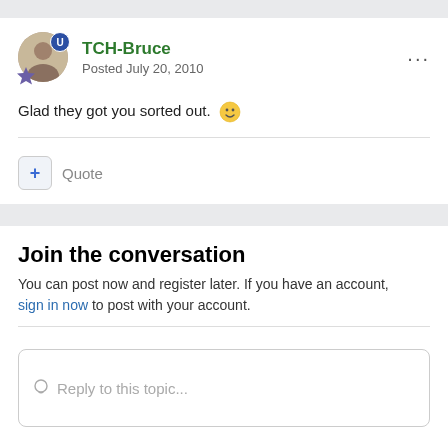TCH-Bruce
Posted July 20, 2010
Glad they got you sorted out. 🙂
+ Quote
Join the conversation
You can post now and register later. If you have an account, sign in now to post with your account.
Reply to this topic...